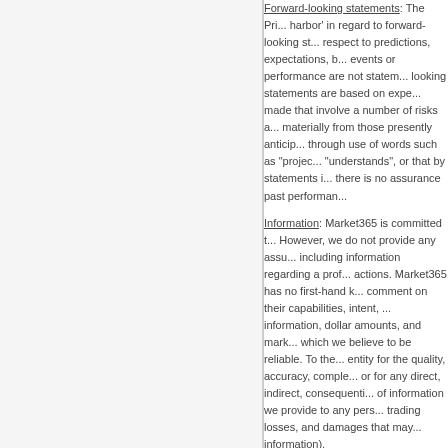Forward-looking statements: The Private Securities Litigation Reform Act of 1995 provides a 'safe harbor' in regard to forward-looking statements. Statements contained in this communication with respect to predictions, expectations, beliefs, plans, projections, objectives, goals, assumptions, future events or performance are not statements of historical fact and may be 'forward-looking statements'. Forward-looking statements are based on expectations, estimates and projections at the time the statements are made that involve a number of risks and uncertainties which could cause actual results or events to differ materially from those presently anticipated. Forward-looking statements may be identified in this communication through use of words such as 'projects', 'foresee', 'expects', 'will', 'anticipates', 'estimates', 'believes', 'understands', or that by statements indicating certain actions 'may', 'could', or 'might' occur. Furthermore, there is no assurance past performance will be indicative of future results.
Information: Market365 is committed to providing quality information pertaining to the profiled company. However, we do not provide any assurances as to the accuracy of the information we provide, up to and including information regarding a profile company's financial condition, operations and/or business activities or actions. Market365 has no first-hand knowledge of a profile company's operations and therefore is unable to comment on their capabilities, intent, resources, nor experience and we make no attempt to do so. Statistical information, dollar amounts, and market size data was provided by the subject company and related public sources which we believe to be reliable. To the fullest extent of the law, we will not be liable to any person or entity for the quality, accuracy, completeness, reliability, or timeliness of the information provided in this newsletter, or for any direct, indirect, consequential, incidental, special or punitive damages that may result from the use of information we provide to any person or entity (including, but not limited to, lost profits, loss of opportunities, trading losses, and damages that may result from any inaccuracy or incompleteness of this information).
Third Party Websites: This email may contain links to third party websites. Market365 is not responsible for their content. Market365, its owners, officers, directors, contractors, shareholders and employees are not responsible for errors and omissions nor does Market365 control, endorse, or guarantee content found in such third party sites. By viewing, or using the website links contained within our publications you agree to indemnify and hold harmless Market365, its owners, officers, directors, contractors, shareholders and employees from and against any and all associated links, resources, or services. Any information provided by us regarding third party websites is provided 'as is'. Market365, its owners, officers, directors, contractors, shareholders and employees shall not be liable for any damage of any sort associated with your use of third party links, and such links are provided for your convenience only.